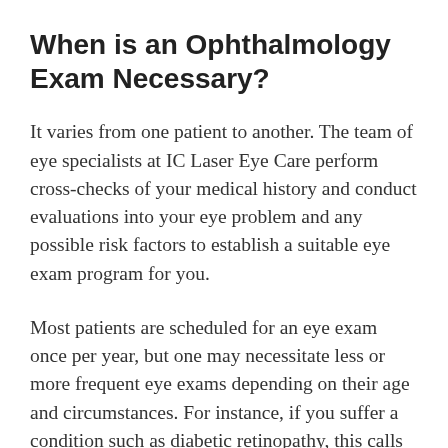When is an Ophthalmology Exam Necessary?
It varies from one patient to another. The team of eye specialists at IC Laser Eye Care perform cross-checks of your medical history and conduct evaluations into your eye problem and any possible risk factors to establish a suitable eye exam program for you.
Most patients are scheduled for an eye exam once per year, but one may necessitate less or more frequent eye exams depending on their age and circumstances. For instance, if you suffer a condition such as diabetic retinopathy, this calls for more diabetic time…